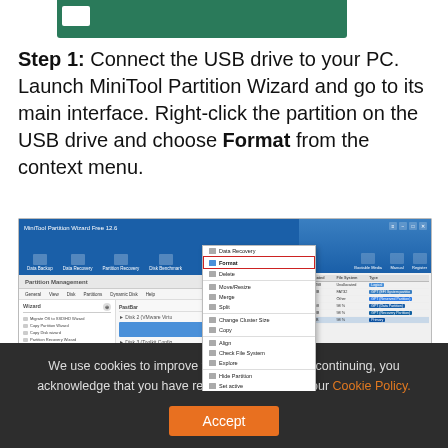[Figure (screenshot): Partial screenshot of MiniTool Partition Wizard with a green header bar at top]
Step 1: Connect the USB drive to your PC. Launch MiniTool Partition Wizard and go to its main interface. Right-click the partition on the USB drive and choose Format from the context menu.
[Figure (screenshot): Screenshot of MiniTool Partition Wizard Free 12.6 showing the partition management interface with a right-click context menu open, highlighting the Format option in a red box. The right side shows a partition table with columns for Unallocated, File System, and Type.]
We use cookies to improve your experience. By continuing, you acknowledge that you have read and understand our Cookie Policy.